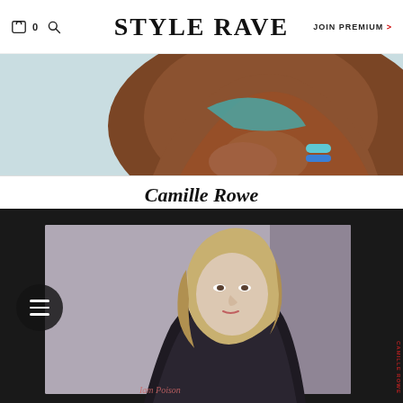STYLE RAVE | JOIN PREMIUM >
[Figure (photo): Cropped photo of a dark-skinned person in a teal bikini, hands folded, with a teal and blue bracelet, against a light background]
Camille Rowe
[Figure (photo): Photo of model Camille Rowe with blonde hair wearing a dark jacket with cursive text, looking over her shoulder, against a dark background framed by a black border]